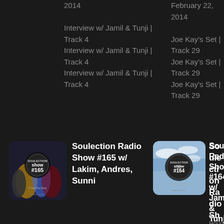2014
Interview w/ Jamil & Tunji | Track 4
Interview w/ Jamil & Tunji | Track 4
Interview w/ Jamil & Tunji | Track 4
February 22, 2014
Joe Kay's Set | Track 29
Joe Kay's Set | Track 29
Joe Kay's Set | Track 29
[Figure (photo): Album art for Soulection Radio Show #165, dark background with basketball players]
Soulection Radio Show #165 w/ Lakim, Andres, Sunni
[Figure (photo): Album art for Soulection Radio Show #164, light blue sky background]
Soulection Radio Show #164 w/ Jamil & Tunji
3 Hours